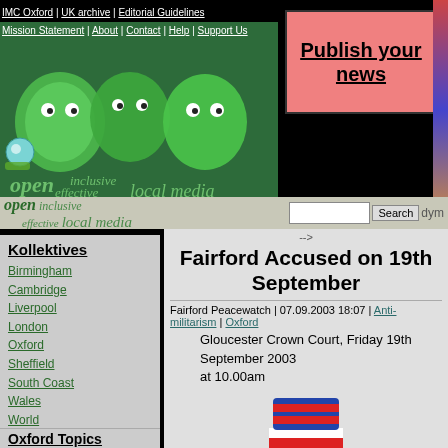IMC Oxford | UK archive | Editorial Guidelines | Mission Statement | About | Contact | Help | Support Us
[Figure (illustration): Colorful graffiti art header image with green blob characters, with text 'open inclusive effective local media'. Pink 'Publish your news' banner on right.]
Fairford Accused on 19th September
Fairford Peacewatch | 07.09.2003 18:07 | Anti-militarism | Oxford
Gloucester Crown Court, Friday 19th September 2003 at 10.00am
[Figure (illustration): Cartoon illustration of Uncle Sam character wearing red, white and blue striped top hat with star, grinning face]
Kollektives
Birmingham
Cambridge
Liverpool
London
Oxford
Sheffield
South Coast
Wales
World
Other UK IMCs
Bristol/South West
London
Northern Indymedia
Scotland
Oxford Topics